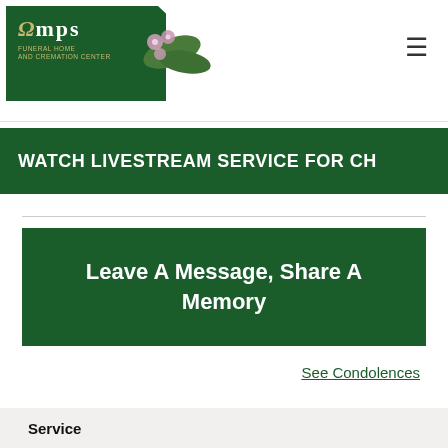[Figure (logo): Omps Funeral Home and Cremation Center logo with green background and decorative flowers]
WATCH LIVESTREAM SERVICE FOR CH
Leave A Message, Share A Memory
See Condolences
Service